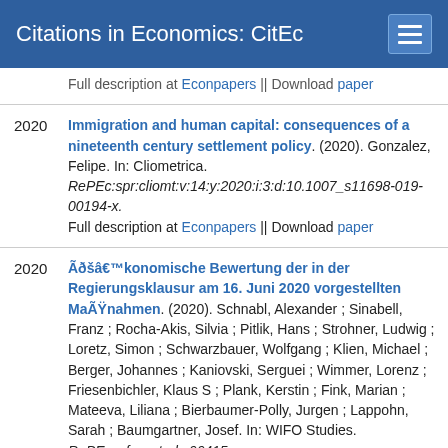Citations in Economics: CitEc
Full description at Econpapers || Download paper
2020 Immigration and human capital: consequences of a nineteenth century settlement policy. (2020). Gonzalez, Felipe. In: Cliometrica. RePEc:spr:cliomt:v:14:y:2020:i:3:d:10.1007_s11698-019-00194-x. Full description at Econpapers || Download paper
2020 Ã¢â€konomische Bewertung der in der Regierungsklausur am 16. Juni 2020 vorgestellten MaÃŸnahmen. (2020). Schnabl, Alexander ; Sinabell, Franz ; Rocha-Akis, Silvia ; Pitlik, Hans ; Strohner, Ludwig ; Loretz, Simon ; Schwarzbauer, Wolfgang ; Klien, Michael ; Berger, Johannes ; Kaniovski, Serguei ; Wimmer, Lorenz ; Friesenbichler, Klaus S ; Plank, Kerstin ; Fink, Marian ; Mateeva, Liliana ; Bierbaumer-Polly, Jurgen ; Lappohn, Sarah ; Baumgartner, Josef. In: WIFO Studies. RePEc:wfo:wstudy:66415.